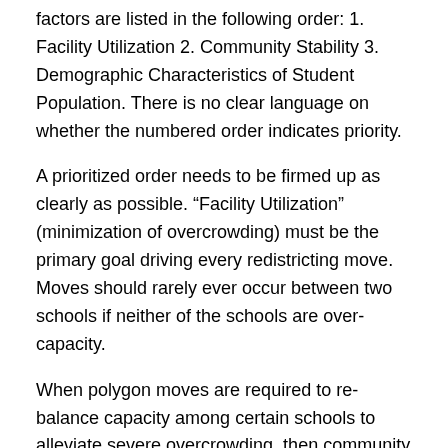factors are listed in the following order: 1. Facility Utilization 2. Community Stability 3. Demographic Characteristics of Student Population. There is no clear language on whether the numbered order indicates priority.
A prioritized order needs to be firmed up as clearly as possible. “Facility Utilization” (minimization of overcrowding) must be the primary goal driving every redistricting move. Moves should rarely ever occur between two schools if neither of the schools are over-capacity.
When polygon moves are required to re-balance capacity among certain schools to alleviate severe overcrowding, then community stability & distance from a polygon to its current school & proposed new school should be the next clear prioritization.
Wording should be added to Policy 6010 that emphasizes